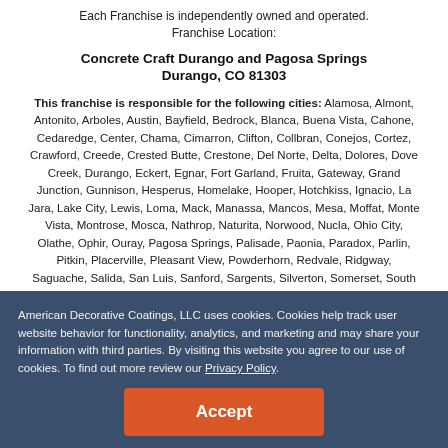Each Franchise is independently owned and operated.
Franchise Location:
Concrete Craft Durango and Pagosa Springs
Durango, CO 81303
This franchise is responsible for the following cities: Alamosa, Almont, Antonito, Arboles, Austin, Bayfield, Bedrock, Blanca, Buena Vista, Cahone, Cedaredge, Center, Chama, Cimarron, Clifton, Collbran, Conejos, Cortez, Crawford, Creede, Crested Butte, Crestone, Del Norte, Delta, Dolores, Dove Creek, Durango, Eckert, Egnar, Fort Garland, Fruita, Gateway, Grand Junction, Gunnison, Hesperus, Homelake, Hooper, Hotchkiss, Ignacio, La Jara, Lake City, Lewis, Loma, Mack, Manassa, Mancos, Mesa, Moffat, Monte Vista, Montrose, Mosca, Nathrop, Naturita, Norwood, Nucla, Ohio City, Olathe, Ophir, Ouray, Pagosa Springs, Palisade, Paonia, Paradox, Parlin, Pitkin, Placerville, Pleasant View, Powderhorn, Redvale, Ridgway, Saguache, Salida, San Luis, Sanford, Sargents, Silverton, Somerset, South Fork, Telluride, Towaoc, Villa Grove, Whitewater, Yellow Jacket
American Decorative Coatings, LLC uses cookies. Cookies help track user website behavior for functionality, analytics, and marketing and may share your information with third parties. By visiting this website you agree to our use of cookies. To find out more review our Privacy Policy.
Accept